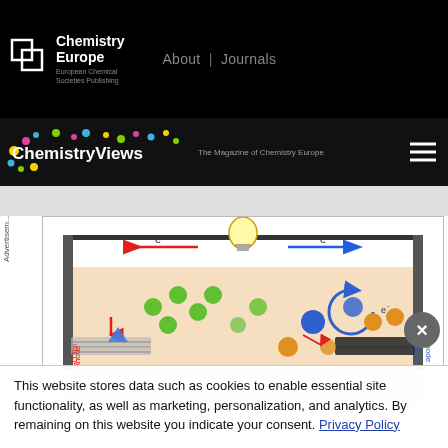Chemistry Europe | European Chemical Societies Publishing | About | Journals
ChemistryViews — The Magazine of Chemistry Europe
[Figure (engineering-diagram): Electrochemical cell diagram showing anode (rGO film) on the left and cathode (rGO film) on the right, with electron flow arrows (red leftward and blue rightward), a light bulb at top center, and colored circles representing ions/molecules in a solution. Red and blue arrows indicate electron movement labeled e-.]
This website stores data such as cookies to enable essential site functionality, as well as marketing, personalization, and analytics. By remaining on this website you indicate your consent. Privacy Policy